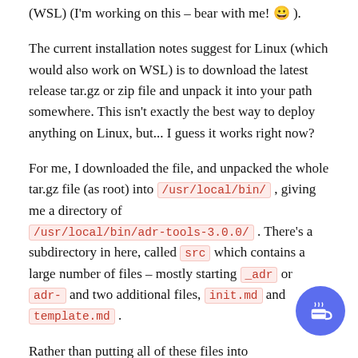(WSL) (I'm working on this – bear with me! 😀 ).
The current installation notes suggest for Linux (which would also work on WSL) is to download the latest release tar.gz or zip file and unpack it into your path somewhere. This isn't exactly the best way to deploy anything on Linux, but... I guess it works right now?
For me, I downloaded the file, and unpacked the whole tar.gz file (as root) into /usr/local/bin/ , giving me a directory of /usr/local/bin/adr-tools-3.0.0/ . There's a subdirectory in here, called src which contains a large number of files – mostly starting _adr or adr- and two additional files, init.md and template.md .
Rather than putting all of these files into /usr/local/bin directly, instead I leave them in the adr-tools-3.0.0 directory, and create a symbolic li (symlink) to the /usr/local/bin directory with this